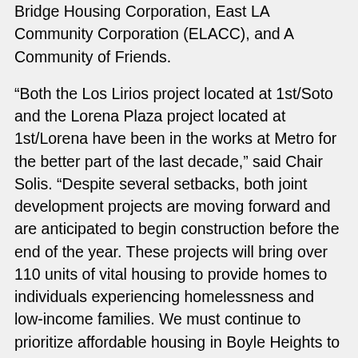Bridge Housing Corporation, East LA Community Corporation (ELACC), and A Community of Friends.
“Both the Los Lirios project located at 1st/Soto and the Lorena Plaza project located at 1st/Lorena have been in the works at Metro for the better part of the last decade,” said Chair Solis. “Despite several setbacks, both joint development projects are moving forward and are anticipated to begin construction before the end of the year. These projects will bring over 110 units of vital housing to provide homes to individuals experiencing homelessness and low-income families. We must continue to prioritize affordable housing in Boyle Heights to combat the rapid gentrification and displacement taking place in the community. I am pleased to see that Metro is utilizing all available resources and assets to make Los Angeles County an affordable and healthy place to live for all.”